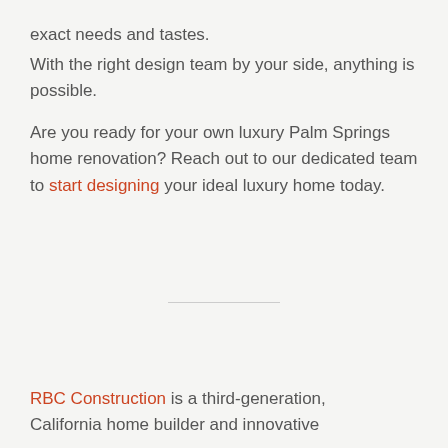exact needs and tastes.
With the right design team by your side, anything is possible.
Are you ready for your own luxury Palm Springs home renovation? Reach out to our dedicated team to start designing your ideal luxury home today.
RBC Construction is a third-generation, California home builder and innovative